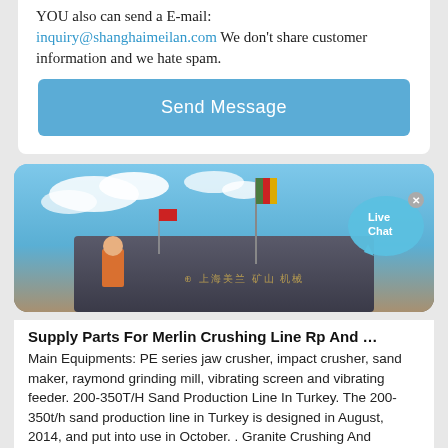YOU also can send a E-mail: inquiry@shanghaimeilan.com We don't share customer information and we hate spam.
[Figure (screenshot): Send Message button, a blue rectangular button with white text]
[Figure (photo): Industrial crushing equipment with flags on top against a blue sky. A Live Chat bubble is visible in the top right.]
Supply Parts For Merlin Crushing Line Rp And …
Main Equipments: PE series jaw crusher, impact crusher, sand maker, raymond grinding mill, vibrating screen and vibrating feeder. 200-350T/H Sand Production Line In Turkey. The 200-350t/h sand production line in Turkey is designed in August, 2014, and put into use in October. . Granite Crushing And Screening Line In Norway.
Crushers In Venezuela Tamilnadu -Crusher
2021-8-2 · Crushers In South Africa Tamilnadu. crushers in south africa tamilnadu jaw crusher in tamil nadu manufacturers and suppliers india these stone crushing